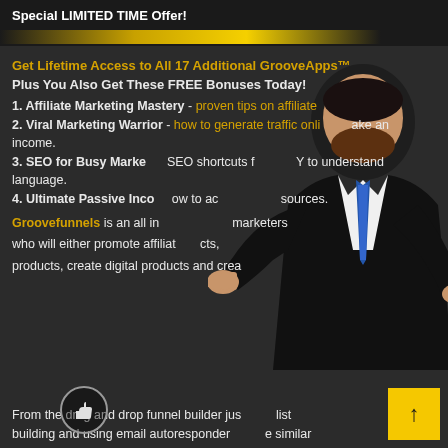Special LIMITED TIME Offer!
Get Lifetime Access to All 17 Additional GrooveApps™
Plus You Also Get These FREE Bonuses Today!
1. Affiliate Marketing Mastery - proven tips on affiliate
2. Viral Marketing Warrior - how to generate traffic online and make an income.
3. SEO for Busy Marketers - SEO shortcuts for easy to understand language.
4. Ultimate Passive Income - how to achieve multiple income sources.
Groovefunnels is an all in one platform for marketers who will either promote affiliate products, create digital products and create
From the drag and drop funnel builder just list
building and using email autoresponder similar